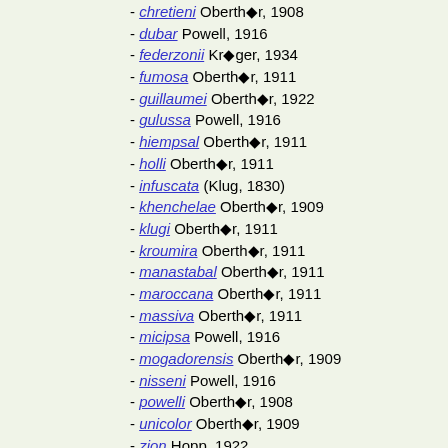- chretieni Oberthür, 1908
- dubar Powell, 1916
- federzonii Krüger, 1934
- fumosa Oberthür, 1911
- guillaumei Oberthür, 1922
- gulussa Powell, 1916
- hiempsal Oberthür, 1911
- holli Oberthür, 1911
- infuscata (Klug, 1830)
- khenchelae Oberthür, 1909
- klugi Oberthür, 1911
- kroumira Oberthür, 1911
- manastabal Oberthür, 1911
- maroccana Oberthür, 1911
- massiva Oberthür, 1911
- micipsa Powell, 1916
- mogadorensis Oberthür, 1909
- nisseni Powell, 1916
- powelli Oberthür, 1908
- unicolor Oberthür, 1909
- zion Hopp, 1922
Psycharium
- barnardi Geertsema, 1998
- kammanassiense Geertsema, 1998